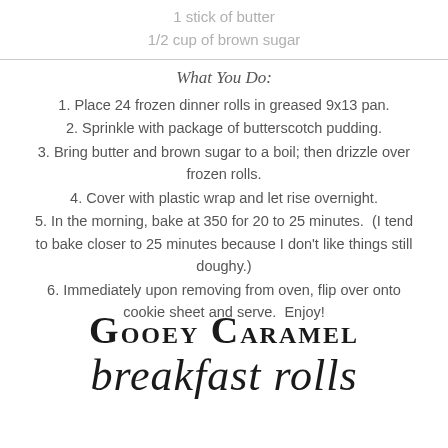1 stick of butter
1/2 cup of brown sugar
What You Do:
1. Place 24 frozen dinner rolls in greased 9x13 pan.
2. Sprinkle with package of butterscotch pudding.
3. Bring butter and brown sugar to a boil; then drizzle over frozen rolls.
4. Cover with plastic wrap and let rise overnight.
5. In the morning, bake at 350 for 20 to 25 minutes.  (I tend to bake closer to 25 minutes because I don't like things still doughy.)
6. Immediately upon removing from oven, flip over onto cookie sheet and serve.  Enjoy!
Gooey Caramel breakfast rolls